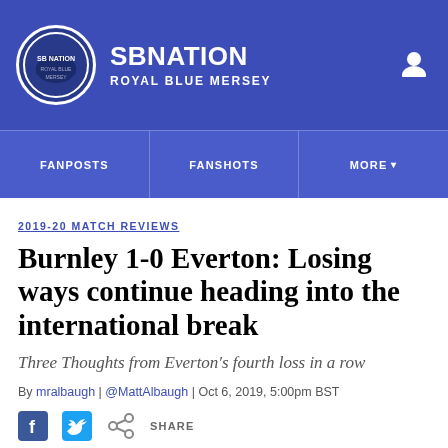SB Nation - Royal Blue Mersey
FANPOSTS | FANSHOTS | MORE
2019-20 MATCH REVIEWS
Burnley 1-0 Everton: Losing ways continue heading into the international break
Three Thoughts from Everton's fourth loss in a row
By mralbaugh | @MattAlbaugh | Oct 6, 2019, 5:00pm BST